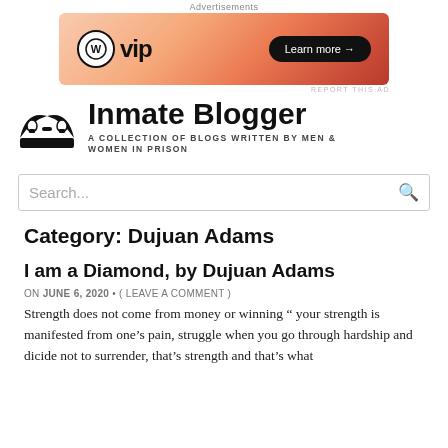Advertisements
[Figure (other): WordPress VIP advertisement banner with gradient orange background and Learn more button]
Inmate Blogger
A COLLECTION OF BLOGS WRITTEN BY MEN & WOMEN IN PRISON
Search...
Category: Dujuan Adams
I am a Diamond, by Dujuan Adams
ON JUNE 6, 2020 • ( LEAVE A COMMENT )
Strength does not come from money or winning " your strength is manifested from one's pain, struggle when you go through hardship and dicide not to surrender, that's strength and that's what